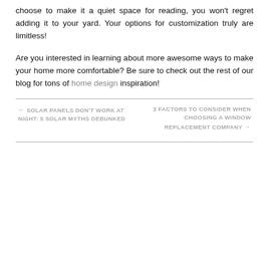choose to make it a quiet space for reading, you won't regret adding it to your yard. Your options for customization truly are limitless!
Are you interested in learning about more awesome ways to make your home more comfortable? Be sure to check out the rest of our blog for tons of home design inspiration!
← SOLAR PANELS DON'T WORK AT NIGHT: 5 SOLAR MYTHS DEBUNKED
3 FACTORS TO CONSIDER WHEN CHOOSING A WINDOW REPLACEMENT COMPANY →